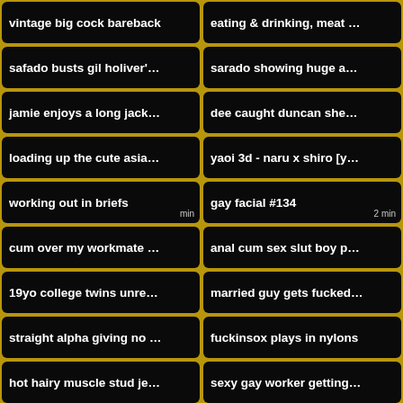vintage big cock bareback
eating & drinking, meat …
safado busts gil holiver'…
sarado showing huge a…
jamie enjoys a long jack…
dee caught duncan she…
loading up the cute asia…
yaoi 3d - naru x shiro [y…
working out in briefs
gay facial #134
cum over my workmate …
anal cum sex slut boy p…
19yo college twins unre…
married guy gets fucked…
straight alpha giving no …
fuckinsox plays in nylons
hot hairy muscle stud je…
sexy gay worker getting…
taking brunet's finger
rapper gives latino odel …
pasta with cum
[compilation] video gam…
bareback dorm party
verified model
demo-loira madura goe…
sexy straight guy jake …
the sexiest big balls evo…
ending on the buttocks